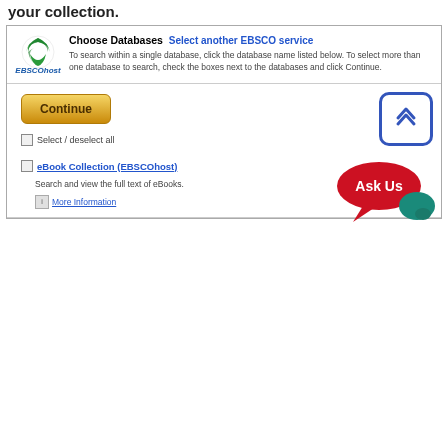your collection.
[Figure (screenshot): EBSCOhost Choose Databases interface screenshot showing logo, header text, Continue button, scroll-to-top button, Select/deselect all checkbox, eBook Collection link, Ask Us chat bubble, and More information link]
Choose Databases  Select another EBSCO service
To search within a single database, click the database name listed below. To select more than one database to search, check the boxes next to the databases and click Continue.
Continue
Select / deselect all
eBook Collection (EBSCOhost)
Search and view the full text of eBooks.
More Information